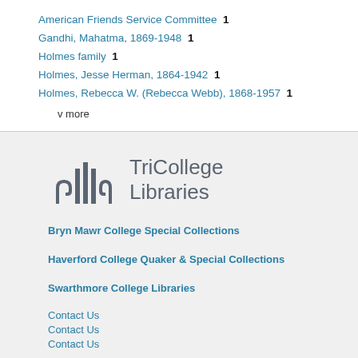American Friends Service Committee  1
Gandhi, Mahatma, 1869-1948  1
Holmes family  1
Holmes, Jesse Herman, 1864-1942  1
Holmes, Rebecca W. (Rebecca Webb), 1868-1957  1
v more
[Figure (logo): TriCollege Libraries logo with stylized column/spiral icon and text 'TriCollege Libraries']
Bryn Mawr College Special Collections
Haverford College Quaker & Special Collections
Swarthmore College Libraries
Contact Us
Contact Us
Contact Us